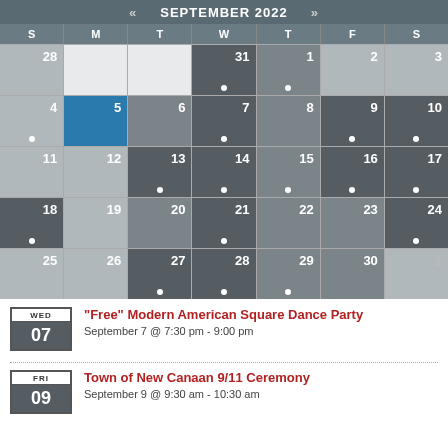| S | M | T | W | T | F | S |
| --- | --- | --- | --- | --- | --- | --- |
| 28 |  |  | 31 | 1 | 2 | 3 |
| 4 | 5 | 6 | 7 | 8 | 9 | 10 |
| 11 | 12 | 13 | 14 | 15 | 16 | 17 |
| 18 | 19 | 20 | 21 | 22 | 23 | 24 |
| 25 | 26 | 27 | 28 | 29 | 30 | 1 |
"Free" Modern American Square Dance Party
September 7 @ 7:30 pm - 9:00 pm
Town of New Canaan 9/11 Ceremony
September 9 @ 9:30 am - 10:30 am